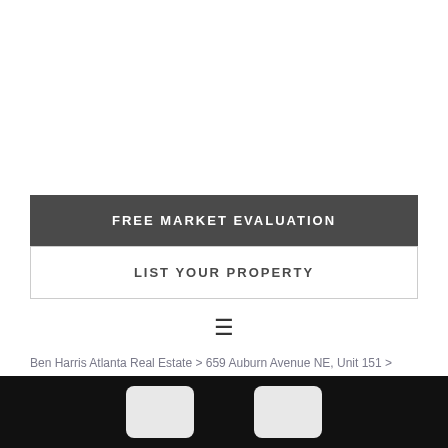FREE MARKET EVALUATION
LIST YOUR PROPERTY
[Figure (other): Hamburger menu icon (three horizontal lines)]
Ben Harris Atlanta Real Estate > 659 Auburn Avenue NE, Unit 151 > 17_5586940_21_1445767718